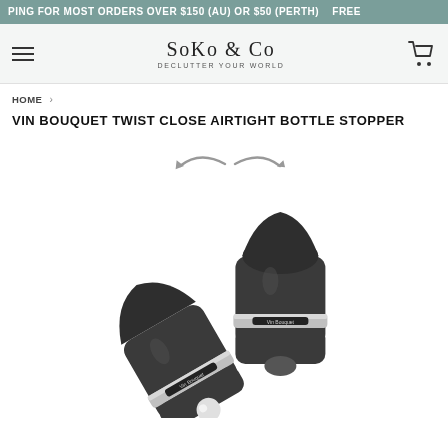FREE SHIPPING FOR MOST ORDERS OVER $150 (AU) OR $50 (PERTH)
[Figure (logo): Soko & Co logo with tagline 'Declutter Your World', hamburger menu icon on left, cart icon on right]
HOME > VIN BOUQUET TWIST CLOSE AIRTIGHT BOTTLE STOPPER
VIN BOUQUET TWIST CLOSE AIRTIGHT BOTTLE STOPPER
[Figure (photo): Two dark grey/black airtight bottle stoppers with silver band and label, one upright and one on its side, with twist arrows graphic above indicating rotation mechanism]